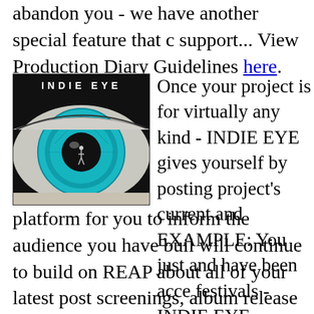abandon you - we have another special feature that c support... View Production Diary Guidelines here.
[Figure (illustration): INDIE EYE logo image: black banner with white spaced letters 'I N D I E   E Y E' above a close-up photo of a human eye with a vivid turquoise/teal iris, with a small silhouette of a person standing in the center of the pupil.]
Once your project is for virtually any kind - INDIE EYE gives yourself by posting project's current and EXAMPLE: You just and have been acce festivals - INDIE EYE platform for you to inform the audience you have buil will continue to build on REAP about all of your latest post screenings, album release dates, youTube video launches and signings, gallery exhibits, pop-up store schedules, performance venues, TV/WEB/FILM/RAD